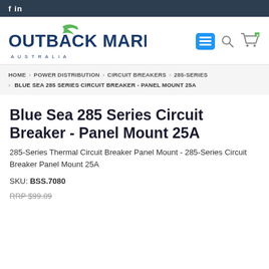f in
[Figure (logo): Outback Marine Australia logo with green bird motif]
HOME › POWER DISTRIBUTION › CIRCUIT BREAKERS › 285-SERIES › BLUE SEA 285 SERIES CIRCUIT BREAKER - PANEL MOUNT 25A
Blue Sea 285 Series Circuit Breaker - Panel Mount 25A
285-Series Thermal Circuit Breaker Panel Mount - 285-Series Circuit Breaker Panel Mount 25A
SKU: BSS.7080
RRP $99.89